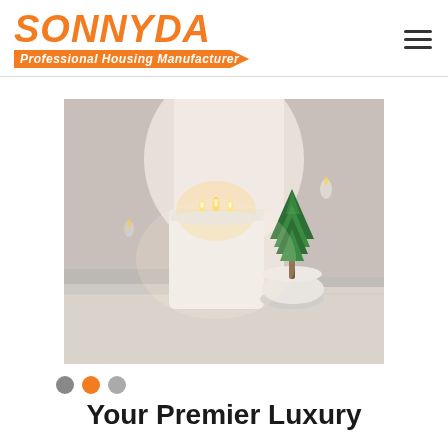SONNYDA — Professional Housing Manufacturer
[Figure (photo): A lit white candle in a frosted glass jar and a small potted green Christmas tree sitting on a granite countertop surface, with warm glowing light in the background.]
Your Premier Luxury